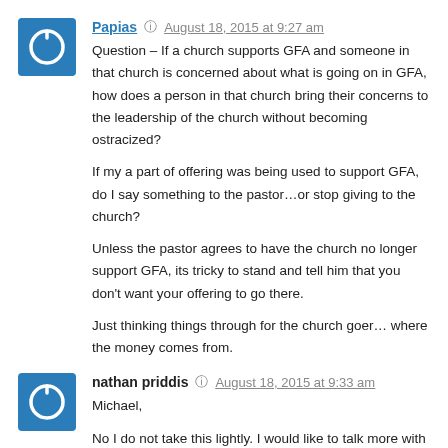Papias — August 18, 2015 at 9:27 am
Question – If a church supports GFA and someone in that church is concerned about what is going on in GFA, how does a person in that church bring their concerns to the leadership of the church without becoming ostracized?

If my a part of offering was being used to support GFA, do I say something to the pastor…or stop giving to the church?

Unless the pastor agrees to have the church no longer support GFA, its tricky to stand and tell him that you don't want your offering to go there.

Just thinking things through for the church goer… where the money comes from.
nathan priddis — August 18, 2015 at 9:33 am
Michael,

No I do not take this lightly. I would like to talk more with